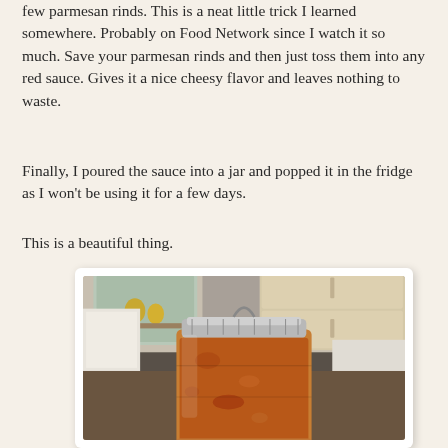few parmesan rinds.  This is a neat little trick I learned somewhere.  Probably on Food Network since I watch it so much.  Save your parmesan rinds and then just toss them into any red sauce.  Gives it a nice cheesy flavor and leaves nothing to waste.
Finally, I poured the sauce into a jar and popped it in the fridge as I won't be using it for a few days.
This is a beautiful thing.
[Figure (photo): A mason jar filled with red tomato sauce, sitting on a kitchen counter. Kitchen cabinets and a mirror/window are visible in the blurred background.]